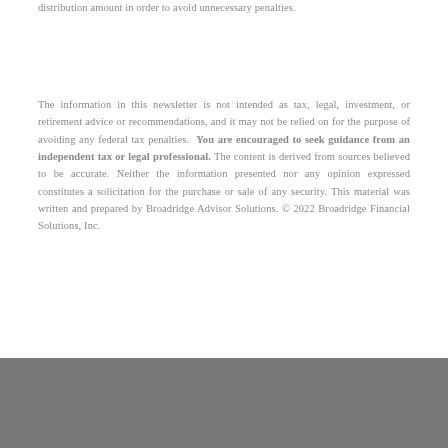distribution amount in order to avoid unnecessary penalties.
The information in this newsletter is not intended as tax, legal, investment, or retirement advice or recommendations, and it may not be relied on for the purpose of avoiding any federal tax penalties. You are encouraged to seek guidance from an independent tax or legal professional. The content is derived from sources believed to be accurate. Neither the information presented nor any opinion expressed constitutes a solicitation for the purchase or sale of any security. This material was written and prepared by Broadridge Advisor Solutions. © 2022 Broadridge Financial Solutions, Inc.